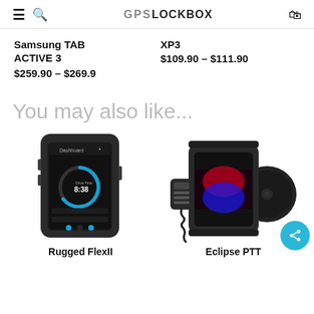GPS LOCKBOX
Samsung TAB ACTIVE 3
$259.90 – $269.9
XP3
$109.90 – $111.90
You may also like...
[Figure (photo): Rugged FlexII device - a rugged tablet/device in a black protective case showing a dashboard screen with drive time 8:38]
[Figure (photo): Eclipse PTT device - a rugged device in black case with red/blue light display and a coiled microphone/speaker attached, mounted on a circular mount]
Rugged FlexII
Eclipse PTT